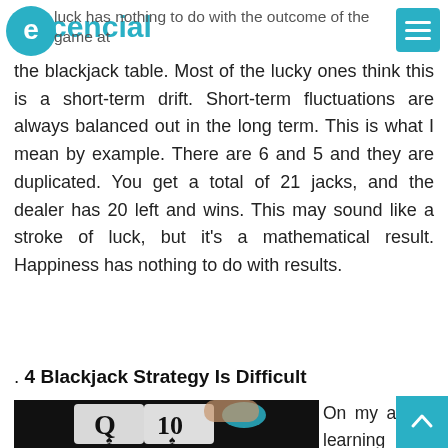Ecencial — luck has nothing to do with the outcome of the game at the blackjack table.
luck has nothing to do with the outcome of the game at the blackjack table. Most of the lucky ones think this is a short-term drift. Short-term fluctuations are always balanced out in the long term. This is what I mean by example. There are 6 and 5 and they are duplicated. You get a total of 21 jacks, and the dealer has 20 left and wins. This may sound like a stroke of luck, but it's a mathematical result. Happiness has nothing to do with results.
. 4 Blackjack Strategy Is Difficult
[Figure (photo): A hand with teal glitter nail polish holding two playing cards: Q of spades and 10 of spades, on a dark background.]
On my advice, learning math while playing